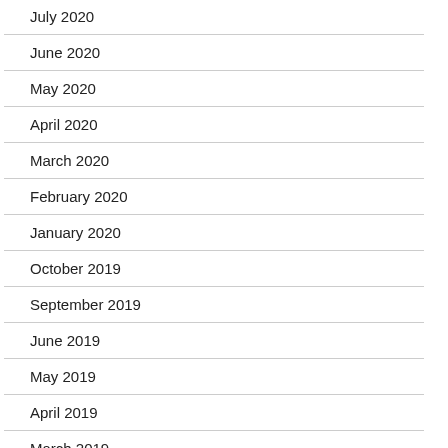July 2020
June 2020
May 2020
April 2020
March 2020
February 2020
January 2020
October 2019
September 2019
June 2019
May 2019
April 2019
March 2019